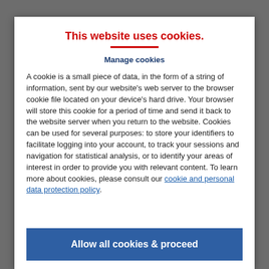This website uses cookies.
Manage cookies
A cookie is a small piece of data, in the form of a string of information, sent by our website's web server to the browser cookie file located on your device's hard drive. Your browser will store this cookie for a period of time and send it back to the website server when you return to the website. Cookies can be used for several purposes: to store your identifiers to facilitate logging into your account, to track your sessions and navigation for statistical analysis, or to identify your areas of interest in order to provide you with relevant content. To learn more about cookies, please consult our cookie and personal data protection policy.
Allow all cookies & proceed